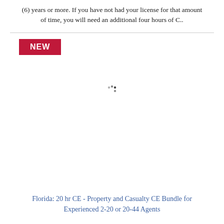(6) years or more. If you have not had your license for that amount of time, you will need an additional four hours of C..
[Figure (other): NEW badge - red rectangular label with white bold text reading NEW]
[Figure (other): Loading spinner animation dots in center of white space]
Florida: 20 hr CE - Property and Casualty CE Bundle for Experienced 2-20 or 20-44 Agents